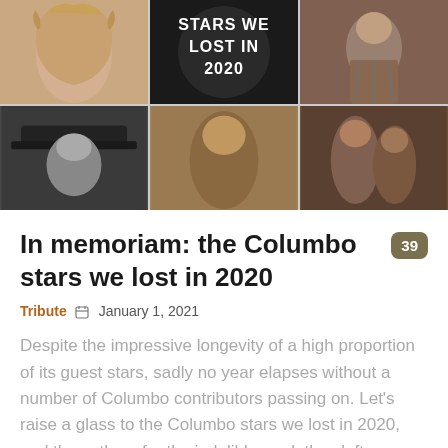[Figure (photo): Photo collage grid of Columbo stars with a dark circular badge in the center reading 'STARS WE LOST IN 2020'. Six cells: top row has a woman with curly blonde hair, the center badge, and a man in a plaid shirt; bottom row has a man with a hat, a person with dark hair, and two people together.]
In memoriam: the Columbo stars we lost in 2020
Tribute  January 1, 2021
Despite the impressive longevity of a high proportion of its guest stars, sadly no year elapses without a number of Columbo contributors passing on. Let's raise a glass to the Columbo stars we lost in 2020, and thank them for the indelible mark they left on our favourite show.